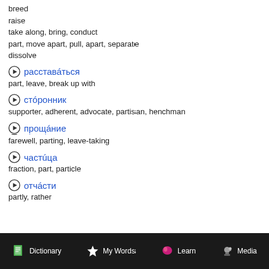breed
raise
take along, bring, conduct
part, move apart, pull, apart, separate
dissolve
расставáться — part, leave, break up with
стóронник — supporter, adherent, advocate, partisan, henchman
прощáние — farewell, parting, leave-taking
частúца — fraction, part, particle
отчáсти — partly, rather
Dictionary | My Words | Learn | Media